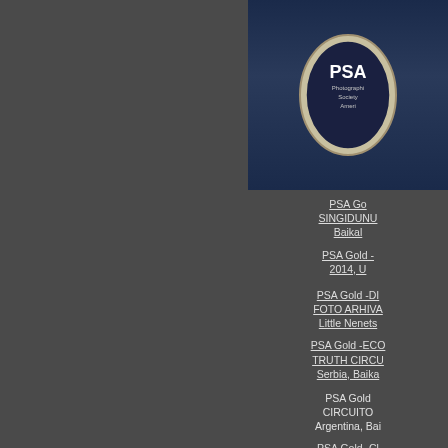[Figure (logo): PSA (Photographic Society of America) circular logo/medal on dark blue background, partially cropped on the right side]
PSA Gold - SINGIDUNUM, Baikal
PSA Gold - 2014, U
PSA Gold -DI, FOTO ARHIVA, Little Nenets
PSA Gold -ECO, TRUTH CIRCU, Serbia, Baika
PSA Gold, CIRCUITO, Argentina, Bai
PSA Gold -C, IBERICO 201, Catch the Rei
PSA bronze - CIRCUIT-201